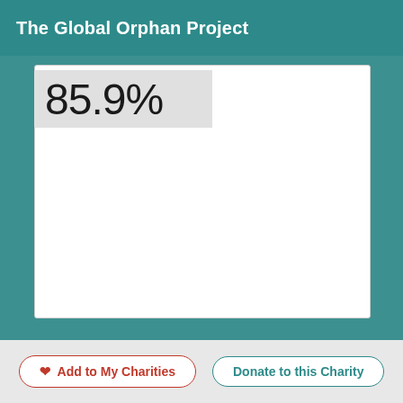The Global Orphan Project
85.9%
[Figure (other): White content card area, mostly blank/empty]
Add to My Charities
Donate to this Charity